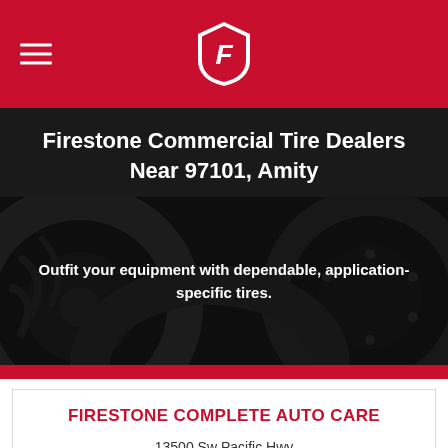[Figure (logo): Firestone shield logo on red navigation bar with hamburger menu icon]
Firestone Commercial Tire Dealers Near 97101, Amity
[Figure (photo): Dark background photo of large commercial/agricultural tires with overlay text: Outfit your equipment with dependable, application-specific tires.]
FIRESTONE COMPLETE AUTO CARE
13500 Sw Pacific Hwy
Portland, OR 97223
Hours Today:: 7:00 am to 6:00 pm